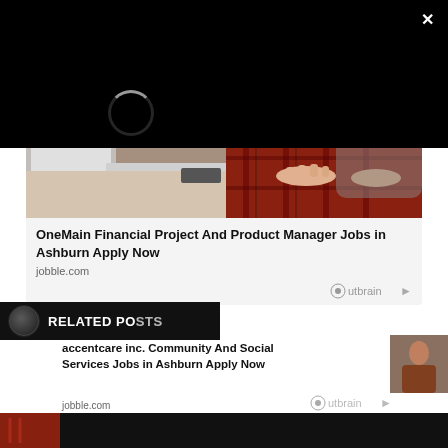[Figure (screenshot): Black overlay area with a circular spinner/loading indicator in the upper portion, and a close (×) button in the top right corner]
[Figure (photo): Photo of a person wearing a red plaid flannel shirt typing on a laptop keyboard at a desk]
OneMain Financial Project And Product Manager Jobs in Ashburn Apply Now
jobble.com
[Figure (logo): Outbrain logo with circular icon and arrow]
[Figure (logo): The Mac Observer logo — circular logo with text RELATED POSTS banner]
accentcare inc. Community And Social Services Jobs in Ashburn Apply Now
jobble.com